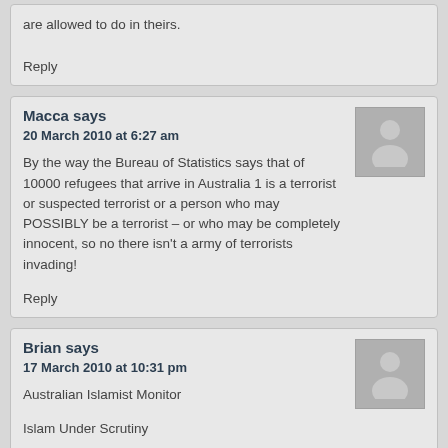are allowed to do in theirs.
Reply
Macca says
20 March 2010 at 6:27 am
By the way the Bureau of Statistics says that of 10000 refugees that arrive in Australia 1 is a terrorist or suspected terrorist or a person who may POSSIBLY be a terrorist – or who may be completely innocent, so no there isn't a army of terrorists invading!
Reply
Brian says
17 March 2010 at 10:31 pm
Australian Islamist Monitor
Islam Under Scrutiny